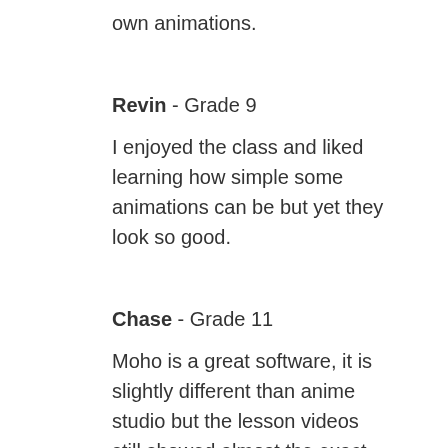own animations.
Revin - Grade 9
I enjoyed the class and liked learning how simple some animations can be but yet they look so good.
Chase - Grade 11
Moho is a great software, it is slightly different than anime studio but the lesson videos still showed almost the exact same features so it was easy to follow